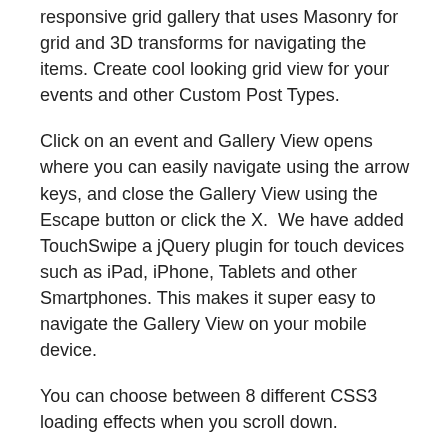responsive grid gallery that uses Masonry for grid and 3D transforms for navigating the items. Create cool looking grid view for your events and other Custom Post Types.
Click on an event and Gallery View opens where you can easily navigate using the arrow keys, and close the Gallery View using the Escape button or click the X.  We have added TouchSwipe a jQuery plugin for touch devices such as iPad, iPhone, Tablets and other Smartphones. This makes it super easy to navigate the Gallery View on your mobile device.
You can choose between 8 different CSS3 loading effects when you scroll down.
You can enable Events Grid View add-on in Calendarize it! and easily switch between the different views that Calendarize it! supports.